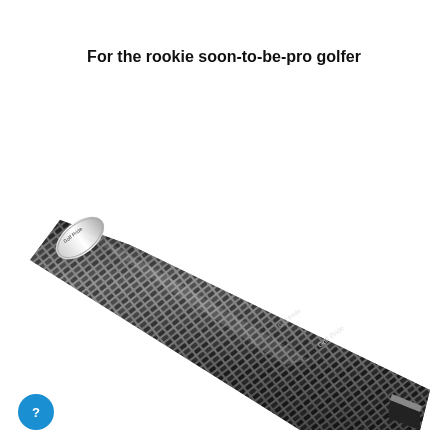For the rookie soon-to-be-pro golfer
[Figure (photo): A diagonal golf club grip (Golf Pride brand) with textured black and white pattern, running from upper-left to lower-right against a white background.]